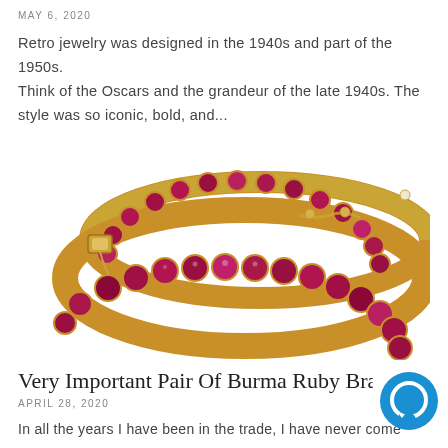MAY 6, 2020
Retro jewelry was designed in the 1940s and part of the 1950s. Think of the Oscars and the grandeur of the late 1940s. The style was so iconic, bold, and...
[Figure (photo): A pair of gold bangle bracelets set with large round ruby gemstones in prong settings, photographed on white background.]
Very Important Pair Of Burma Ruby Bra
APRIL 28, 2020
In all the years I have been in the trade, I have never come